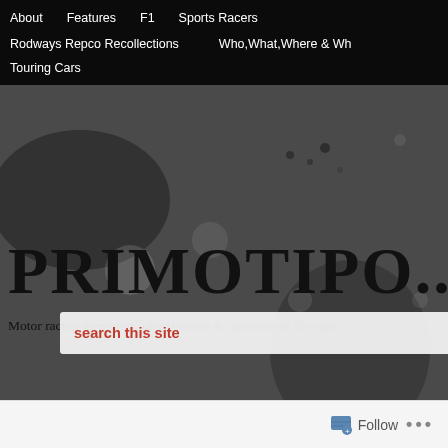About   Features   F1   Sports Racers   Rodways Repco Recollections   Who,What,Where & Wh   Touring Cars
PRIMOTIPO....
Motor racing memories, observations & opinions on the sport
[Figure (screenshot): Black and white textured grunge background with distressed surface effect]
search this site →
→ Angus
Posted: May 1
Tags: 1972 Au
Repco, Frank
Follow ...